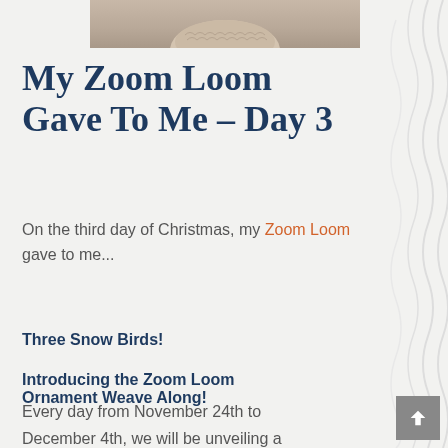[Figure (photo): Top portion of a beige/tan knitted or woven textile item, cropped at the top of the page]
My Zoom Loom Gave To Me – Day 3
On the third day of Christmas, my Zoom Loom gave to me...
Three Snow Birds!
Introducing the Zoom Loom Ornament Weave Along!
Every day from November 24th to December 4th, we will be unveiling a new Zoom Loom ornament pattern on our blog!